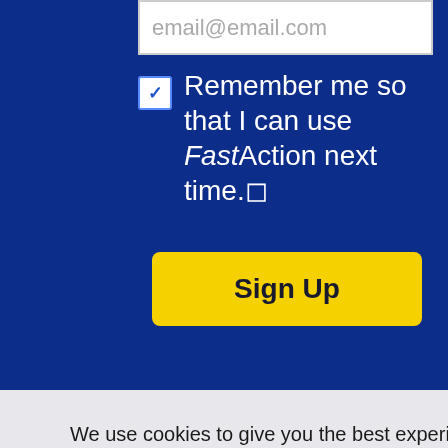email@email.com
Remember me so that I can use FastAction next time.
Sign Up
We use cookies to give you the best experience on our website. To learn more about our privacy practices, and how to change your cookie settings, visit our Privacy Policy.
I Understand